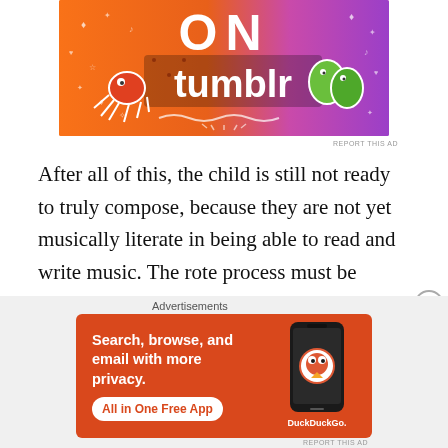[Figure (illustration): Tumblr advertisement banner with colorful orange-to-purple gradient background, showing text 'ON tumblr' with decorative cartoon elements including a crab/octopus, green leaves, and various doodles]
After all of this, the child is still not ready to truly compose, because they are not yet musically literate in being able to read and write music. The rote process must be started again, but this time for reading. First, students copy music and receive instruction on correct music notational techniques. Even with all the music notation software
Advertisements
[Figure (illustration): DuckDuckGo advertisement with orange background showing text 'Search, browse, and email with more privacy. All in One Free App' alongside a smartphone image and DuckDuckGo logo]